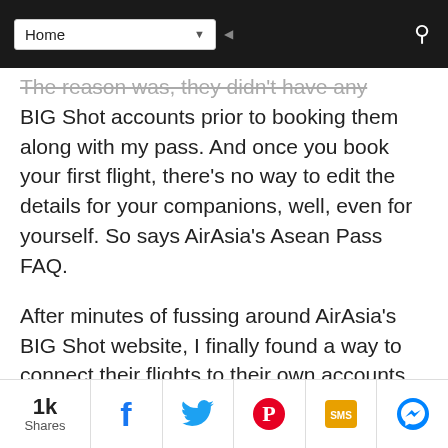Home ▾
The reason was, they didn't have any BIG Shot accounts prior to booking them along with my pass. And once you book your first flight, there's no way to edit the details for your companions, well, even for yourself. So says AirAsia's Asean Pass FAQ.
After minutes of fussing around AirAsia's BIG Shot website, I finally found a way to connect their flights to their own accounts. This way, not only can they check-in themselves, buy their own baggage allowances and whatnots,
1k Shares | Facebook | Twitter | Pinterest | SMS | Messenger